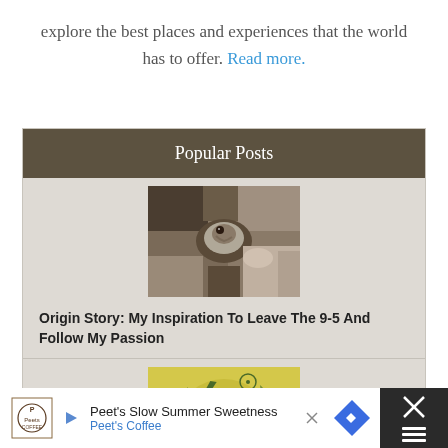explore the best places and experiences that the world has to offer. Read more.
Popular Posts
[Figure (photo): A bird perched among rocks, brown and white coloring]
Origin Story: My Inspiration To Leave The 9-5 And Follow My Passion
[Figure (illustration): Explore the World logo/graphic on yellow background with tropical leaves]
[Figure (infographic): Advertisement bar: Peet's Slow Summer Sweetness, Peet's Coffee, with logo and navigation arrow, close button]